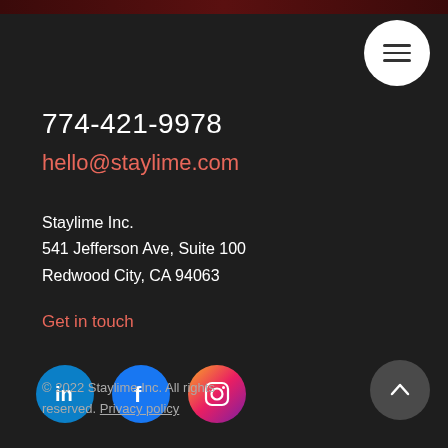774-421-9978
hello@staylime.com
Staylime Inc.
541 Jefferson Ave, Suite 100
Redwood City, CA 94063
Get in touch
[Figure (illustration): LinkedIn, Facebook, and Instagram social media icons in circular buttons]
© 2022 Staylime Inc. All rights reserved. Privacy policy